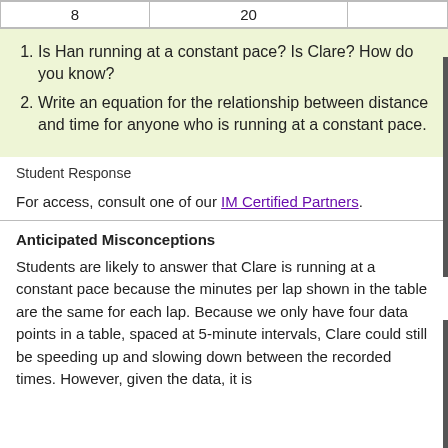| 8 | 20 |
1. Is Han running at a constant pace? Is Clare? How do you know?
2. Write an equation for the relationship between distance and time for anyone who is running at a constant pace.
Student Response
For access, consult one of our IM Certified Partners.
Anticipated Misconceptions
Students are likely to answer that Clare is running at a constant pace because the minutes per lap shown in the table are the same for each lap. Because we only have four data points in a table, spaced at 5-minute intervals, Clare could still be speeding up and slowing down between the recorded times. However, given the data, it is